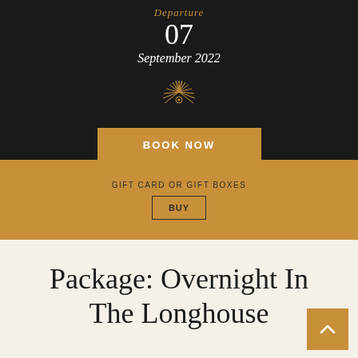Departure
07
September 2022
[Figure (illustration): Decorative sunburst/starburst icon in gold on dark background]
BOOK NOW
GIFT CARD OR GIFT BOXES
BUY
Package: Overnight In The Longhouse